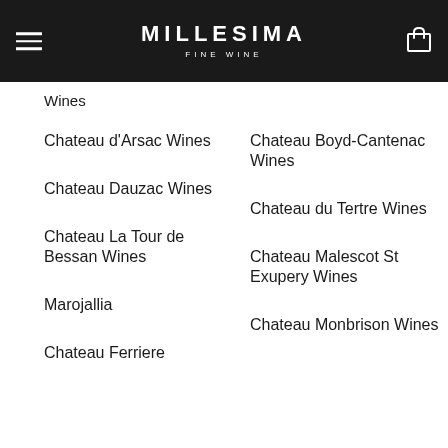MILLESIMA FINE WINE
Wines
Chateau d'Arsac Wines
Chateau Boyd-Cantenac Wines
Chateau Dauzac Wines
Chateau du Tertre Wines
Chateau La Tour de Bessan Wines
Chateau Malescot St Exupery Wines
Marojallia
Chateau Monbrison Wines
Chateau Ferriere